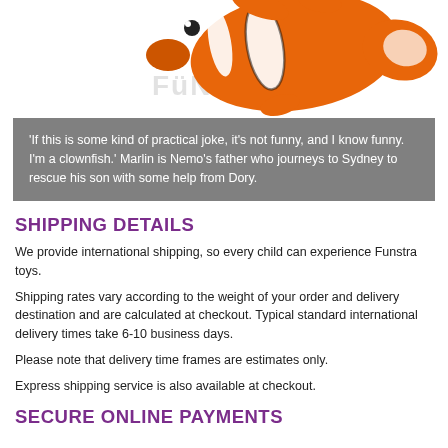[Figure (photo): Clownfish (Nemo) plush toy figure on white background with Funstra watermark logo]
'If this is some kind of practical joke, it's not funny, and I know funny. I'm a clownfish.' Marlin is Nemo's father who journeys to Sydney to rescue his son with some help from Dory.
SHIPPING DETAILS
We provide international shipping, so every child can experience Funstra toys.
Shipping rates vary according to the weight of your order and delivery destination and are calculated at checkout. Typical standard international delivery times take 6-10 business days.
Please note that delivery time frames are estimates only.
Express shipping service is also available at checkout.
SECURE ONLINE PAYMENTS